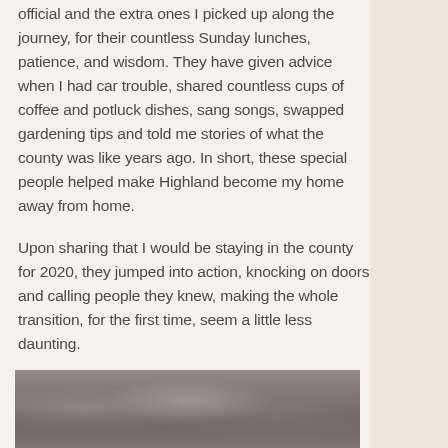official and the extra ones I picked up along the journey, for their countless Sunday lunches, patience, and wisdom. They have given advice when I had car trouble, shared countless cups of coffee and potluck dishes, sang songs, swapped gardening tips and told me stories of what the county was like years ago. In short, these special people helped make Highland become my home away from home.
Upon sharing that I would be staying in the county for 2020, they jumped into action, knocking on doors and calling people they knew, making the whole transition, for the first time, seem a little less daunting.
[Figure (photo): A blurred horizontal photograph showing a group of people, appearing muted and out of focus with grey-brown tones.]